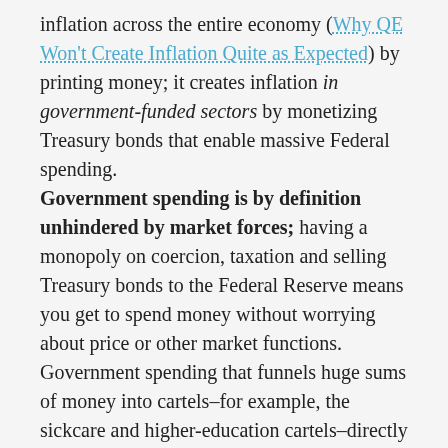inflation across the entire economy (Why QE Won't Create Inflation Quite as Expected) by printing money; it creates inflation in government-funded sectors by monetizing Treasury bonds that enable massive Federal spending. Government spending is by definition unhindered by market forces; having a monopoly on coercion, taxation and selling Treasury bonds to the Federal Reserve means you get to spend money without worrying about price or other market functions. Government spending that funnels huge sums of money into cartels–for example, the sickcare and higher-education cartels–directly supports monopolistic pricing, which then drives costs higher regardless of the money supply expanding or contracting. This is the basic function of the Statist monopoly capital partnership that dominates our